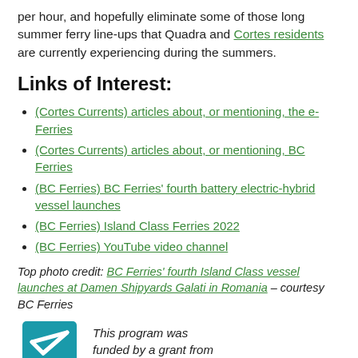per hour, and hopefully eliminate some of those long summer ferry line-ups that Quadra and Cortes residents are currently experiencing during the summers.
Links of Interest:
(Cortes Currents) articles about, or mentioning, the e-Ferries
(Cortes Currents) articles about, or mentioning, BC Ferries
(BC Ferries) BC Ferries' fourth battery electric-hybrid vessel launches
(BC Ferries) Island Class Ferries 2022
(BC Ferries) YouTube video channel
Top photo credit: BC Ferries' fourth Island Class vessel launches at Damen Shipyards Galati in Romania – courtesy BC Ferries
[Figure (logo): Fonds canadien de la radio communautaire logo - teal/blue square with white checkmark graphic]
This program was funded by a grant from